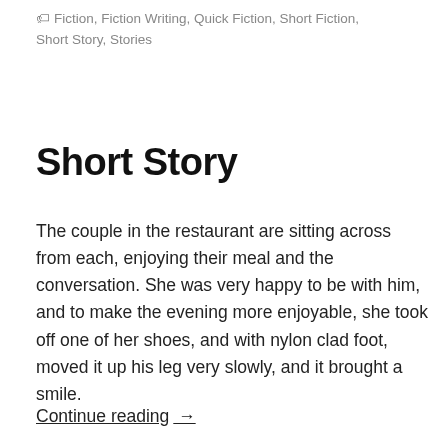Fiction, Fiction Writing, Quick Fiction, Short Fiction, Short Story, Stories
Short Story
The couple in the restaurant are sitting across from each, enjoying their meal and the conversation. She was very happy to be with him, and to make the evening more enjoyable, she took off one of her shoes, and with nylon clad foot, moved it up his leg very slowly, and it brought a smile.
Continue reading →